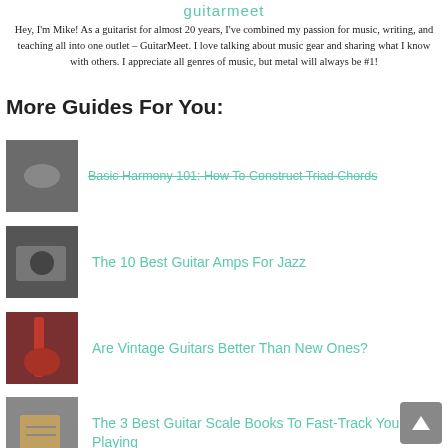guitarmeet
Hey, I'm Mike! As a guitarist for almost 20 years, I've combined my passion for music, writing, and teaching all into one outlet – GuitarMeet. I love talking about music gear and sharing what I know with others. I appreciate all genres of music, but metal will always be #1!
More Guides For You:
Basic Harmony 101: How To Construct Triad Chords
The 10 Best Guitar Amps For Jazz
Are Vintage Guitars Better Than New Ones?
The 3 Best Guitar Scale Books To Fast-Track Your Playing
Protect Your Instrument With The Best Guitar Humidifiers